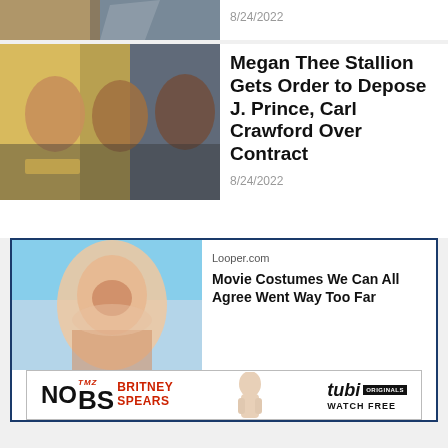[Figure (photo): Partial top of article image (cropped), three people outdoors]
8/24/2022
[Figure (photo): Three people standing outside; woman in yellow, two men]
Megan Thee Stallion Gets Order to Depose J. Prince, Carl Crawford Over Contract
8/24/2022
[Figure (photo): Woman with shocked expression, mouth open wide, hands on cheeks]
Looper.com
Movie Costumes We Can All Agree Went Way Too Far
[Figure (advertisement): TMZ No BS Britney Spears advertisement with Tubi Originals Watch Free banner]